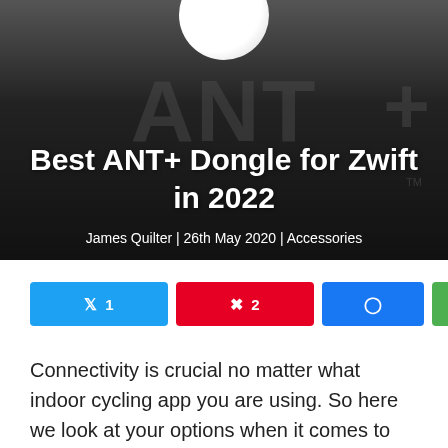[Figure (photo): Hero image with ANT+ logo background (dark/black gradient), circular white element at top center, large grey ANT+ text watermark. Title overlay reads 'Best ANT+ Dongle for Zwift in 2022' and byline 'James Quilter | 26th May 2020 | Accessories'.]
Best ANT+ Dongle for Zwift in 2022
James Quilter | 26th May 2020 | Accessories
[Figure (infographic): Social sharing buttons: Twitter (1), Pinterest (2), Facebook, WhatsApp, and a share count of 3 SHARES]
Connectivity is crucial no matter what indoor cycling app you are using. So here we look at your options when it comes to getting the best ANT+